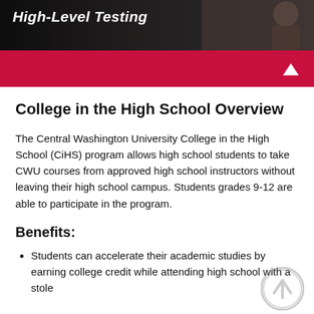[Figure (photo): Dark banner photo showing a person, with white bold italic text overlay reading 'High-Level Testing']
[Figure (other): Red navigation bar with white dropdown arrow on the right]
College in the High School Overview
The Central Washington University College in the High School (CiHS) program allows high school students to take CWU courses from approved high school instructors without leaving their high school campus. Students grades 9-12 are able to participate in the program.
Benefits:
Students can accelerate their academic studies by earning college credit while attending high school with a stole…